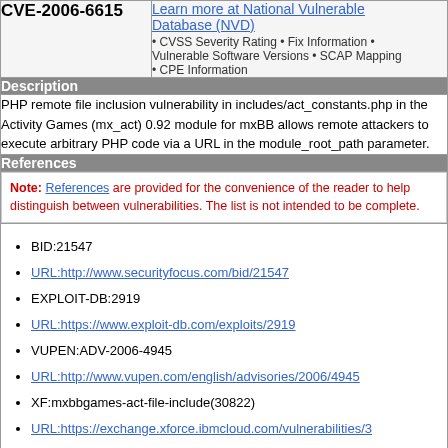CVE-2006-6615
Learn more at National Vulnerable Database (NVD) • CVSS Severity Rating • Fix Information • Vulnerable Software Versions • SCAP Mapping • CPE Information
Description
PHP remote file inclusion vulnerability in includes/act_constants.php in the Activity Games (mx_act) 0.92 module for mxBB allows remote attackers to execute arbitrary PHP code via a URL in the module_root_path parameter.
References
Note: References are provided for the convenience of the reader to help distinguish between vulnerabilities. The list is not intended to be complete.
BID:21547
URL:http://www.securityfocus.com/bid/21547
EXPLOIT-DB:2919
URL:https://www.exploit-db.com/exploits/2919
VUPEN:ADV-2006-4945
URL:http://www.vupen.com/english/advisories/2006/4945
XF:mxbbgames-act-file-include(30822)
URL:https://exchange.xforce.ibmcloud.com/vulnerabilities/3...